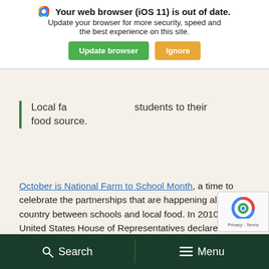[Figure (screenshot): Browser outdated warning bar with 'Your web browser (iOS 11) is out of date.' message, green 'Update browser' button and orange 'Ignore' button]
Local fa... students to their food source.
October is National Farm to School Month, a time to celebrate the partnerships that are happening all over the country between schools and local food. In 2010, the United States House of Representatives declared October to be National Farm to School Month, recognizing the strong role Farm to School programs play promoting good health and strong econom
[Figure (screenshot): reCAPTCHA badge in bottom right with Privacy - Terms links]
Search   Menu